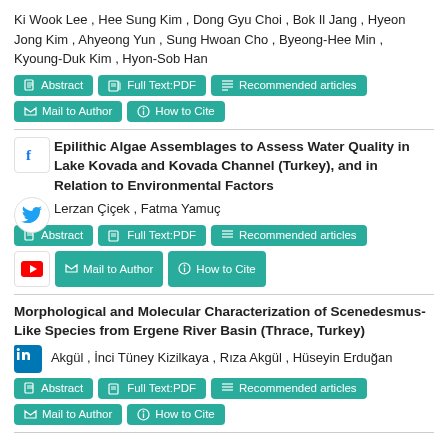Ki Wook Lee , Hee Sung Kim , Dong Gyu Choi , Bok Il Jang , Hyeon Jong Kim , Ahyeong Yun , Sung Hwoan Cho , Byeong-Hee Min , Kyoung-Duk Kim , Hyon-Sob Han
Abstract | Full Text:PDF | Recommended articles | Mail to Author | How to Cite
Epilithic Algae Assemblages to Assess Water Quality in Lake Kovada and Kovada Channel (Turkey), and in Relation to Environmental Factors
Lerzan Çiçek , Fatma Yamuç
Abstract | Full Text:PDF | Recommended articles | Mail to Author | How to Cite
Morphological and Molecular Characterization of Scenedesmus-Like Species from Ergene River Basin (Thrace, Turkey)
Akgül , İnci Tüney Kizilkaya , Rıza Akgül , Hüseyin Erduğan
Abstract | Full Text:PDF | Recommended articles | Mail to Author | How to Cite